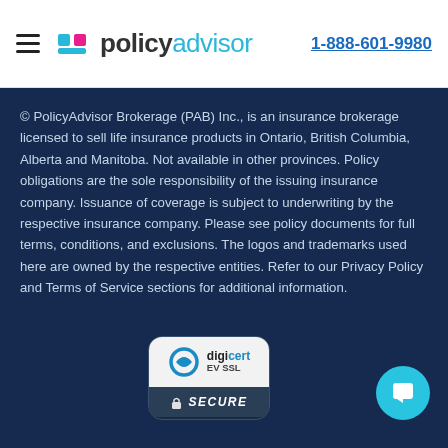policy advisor | 1-888-601-9980
© PolicyAdvisor Brokerage (PAB) Inc., is an insurance brokerage licensed to sell life insurance products in Ontario, British Columbia, Alberta and Manitoba. Not available in other provinces. Policy obligations are the sole responsibility of the issuing insurance company. Issuance of coverage is subject to underwriting by the respective insurance company. Please see policy documents for full terms, conditions, and exclusions. The logos and trademarks used here are owned by the respective entities. Refer to our Privacy Policy and Terms of Service sections for additional information.
[Figure (logo): DigiCert EV SSL Secure badge with padlock icon]
[Figure (illustration): Cyan circular chat/message button with document icon]